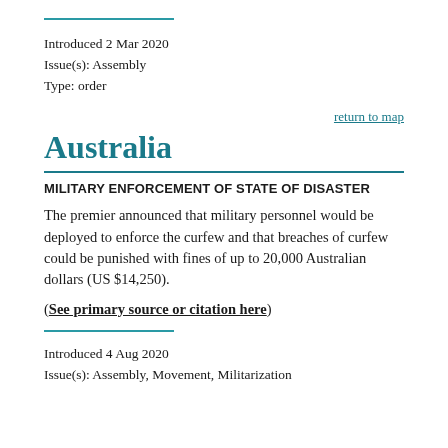Introduced 2 Mar 2020
Issue(s): Assembly
Type: order
return to map
Australia
MILITARY ENFORCEMENT OF STATE OF DISASTER
The premier announced that military personnel would be deployed to enforce the curfew and that breaches of curfew could be punished with fines of up to 20,000 Australian dollars (US $14,250).
(See primary source or citation here)
Introduced 4 Aug 2020
Issue(s): Assembly, Movement, Militarization